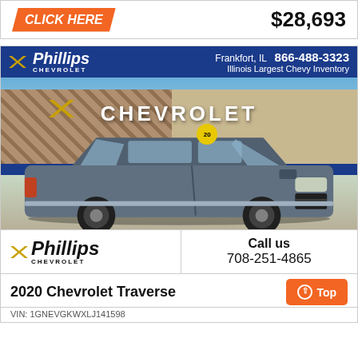CLICK HERE
$28,693
[Figure (photo): Phillips Chevrolet dealership advertisement showing a 2020 Chevrolet Traverse SUV parked in front of the dealership building with Chevrolet signage. Header reads: Phillips Chevrolet, Frankfort, IL, 866-488-3323, Illinois Largest Chevy Inventory.]
Call us
708-251-4865
2020 Chevrolet Traverse
Top
VIN: 1GNEVGKWXLJ141598